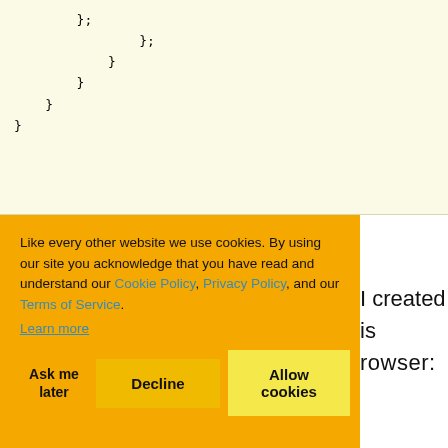};
            }
        }
    }
}
Like every other website we use cookies. By using our site you acknowledge that you have read and understand our Cookie Policy, Privacy Policy, and our Terms of Service.
Learn more
I created is rowser: